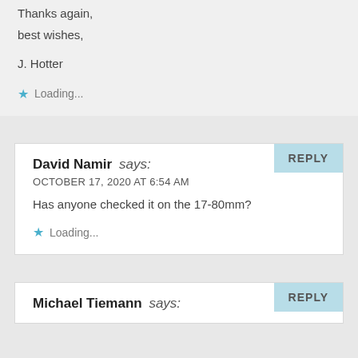Thanks again,
best wishes,

J. Hotter
Loading...
David Namir says:
OCTOBER 17, 2020 AT 6:54 AM
Has anyone checked it on the 17-80mm?
Loading...
Michael Tiemann says: